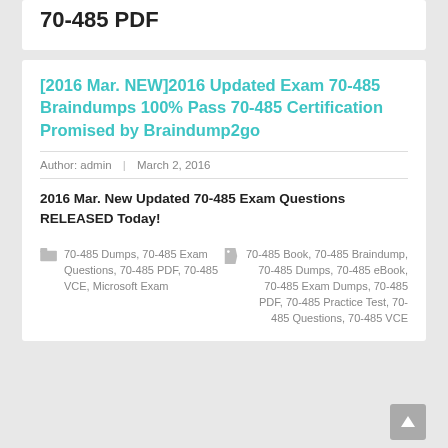70-485 PDF
[2016 Mar. NEW]2016 Updated Exam 70-485 Braindumps 100% Pass 70-485 Certification Promised by Braindump2go
Author: admin | March 2, 2016
2016 Mar. New Updated 70-485 Exam Questions RELEASED Today!
70-485 Dumps, 70-485 Exam Questions, 70-485 PDF, 70-485 VCE, Microsoft Exam
70-485 Book, 70-485 Braindump, 70-485 Dumps, 70-485 eBook, 70-485 Exam Dumps, 70-485 PDF, 70-485 Practice Test, 70-485 Questions, 70-485 VCE